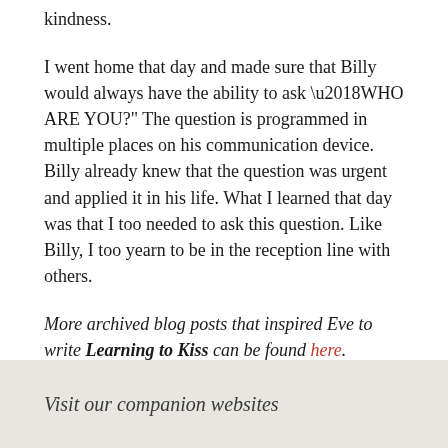kindness.
I went home that day and made sure that Billy would always have the ability to ask ‘WHO ARE YOU?” The question is programmed in multiple places on his communication device. Billy already knew that the question was urgent and applied it in his life. What I learned that day was that I too needed to ask this question. Like Billy, I too yearn to be in the reception line with others.
More archived blog posts that inspired Eve to write Learning to Kiss can be found here.
Visit our companion websites